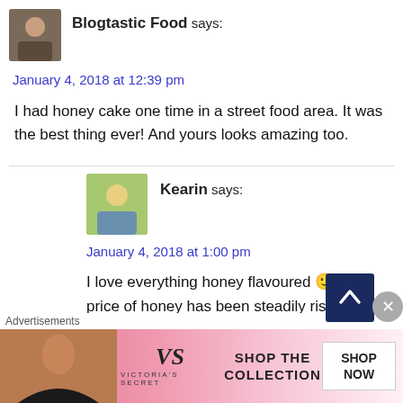Blogtastic Food says:
January 4, 2018 at 12:39 pm
I had honey cake one time in a street food area. It was the best thing ever! And yours looks amazing too.
Kearin says:
January 4, 2018 at 1:00 pm
I love everything honey flavoured 🙂 The price of honey has been steadily rising here and I've been trying to get my parents to get beehives but I
Advertisements
[Figure (other): Victoria's Secret advertisement banner with model photo, VS logo, 'SHOP THE COLLECTION' text, and 'SHOP NOW' button]